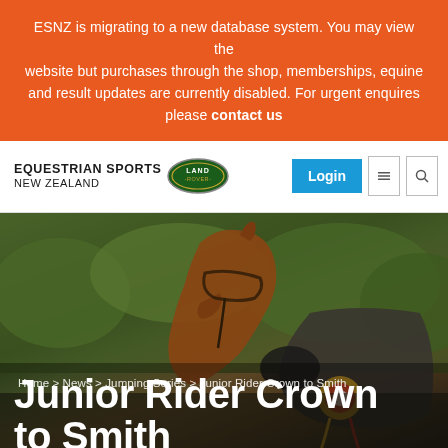ESNZ is migrating to a new database system. You may view the website but purchases through the shop, memberships, equine and result updates are currently disabled. For urgent enquires please contact us
[Figure (logo): Equestrian Sports New Zealand logo with Land Rover badge]
Home > News > Jumping Series > Junior Rider Crown to Smith
Junior Rider Crown to Smith
[Figure (photo): A chestnut horse wearing a bridle and grey blanket, with a rider holding a rosette award in an outdoor equestrian setting with green foliage background]